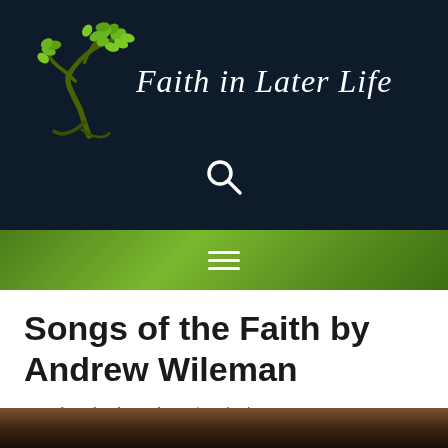[Figure (logo): Faith in Later Life logo: green tree with leaves on dark navy background, with white italic text 'Faith in Later Life']
[Figure (other): Search icon (magnifying glass) on dark navy background]
[Figure (other): Green gradient navigation bar with white hamburger menu icon (three horizontal lines)]
Songs of the Faith by Andrew Wileman
By Church Champions | 08/01/2022
[Figure (photo): Partial bottom image showing dark brown warm-toned background, cropped at page edge]